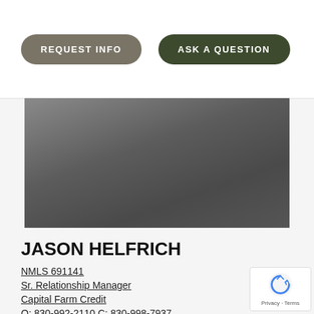REQUEST INFO
ASK A QUESTION
[Figure (photo): Gray gradient background representing a profile photo placeholder]
JASON HELFRICH
NMLS 691141
Sr. Relationship Manager
Capital Farm Credit
O: 830-992-2110 C: 830-998-7937